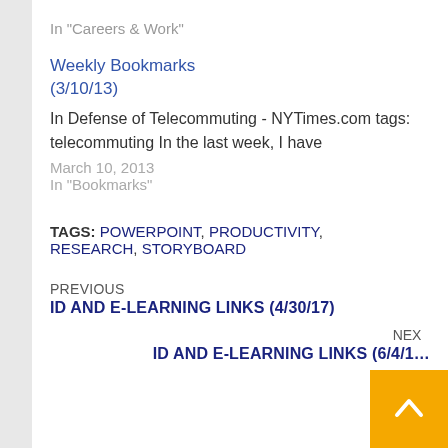In "Careers & Work"
Weekly Bookmarks (3/10/13)
In Defense of Telecommuting - NYTimes.com tags: telecommuting In the last week, I have
March 10, 2013
In "Bookmarks"
TAGS: POWERPOINT, PRODUCTIVITY, RESEARCH, STORYBOARD
PREVIOUS
ID AND E-LEARNING LINKS (4/30/17)
NEXT
ID AND E-LEARNING LINKS (6/4/1…